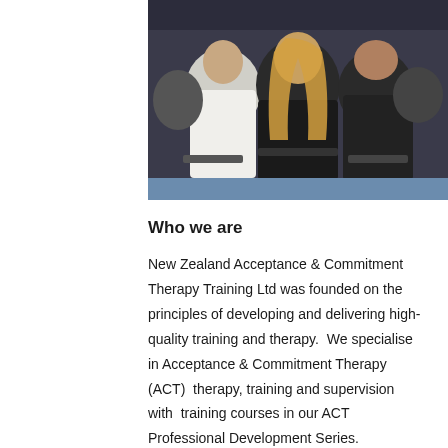[Figure (photo): Audience of people viewed from behind, seated in a conference or training room setting. A woman with blonde hair in the center, men in shirts on either side.]
Who we are
New Zealand Acceptance & Commitment Therapy Training Ltd was founded on the principles of developing and delivering high-quality training and therapy.  We specialise in Acceptance & Commitment Therapy (ACT)  therapy, training and supervision with  training courses in our ACT Professional Development Series.